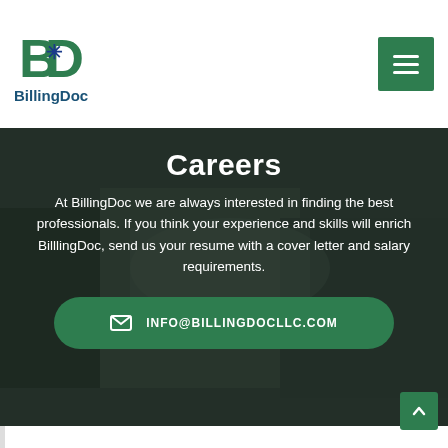[Figure (logo): BillingDoc logo with stylized B and asterisk icon above the text 'BillingDoc' in dark blue]
[Figure (photo): Dark-tinted background photo of professionals working on laptops, used as hero banner]
Careers
At BillingDoc we are always interested in finding the best professionals. If you think your experience and skills will enrich BilllingDoc, send us your resume with a cover letter and salary requirements.
INFO@BILLINGDOCLLC.COM
Do you run a medical practice?